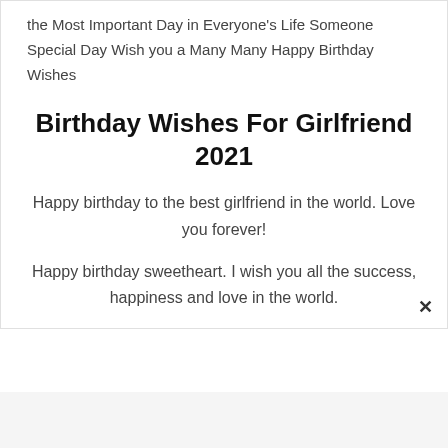the Most Important Day in Everyone's Life Someone Special Day Wish you a Many Many Happy Birthday Wishes
Birthday Wishes For Girlfriend 2021
Happy birthday to the best girlfriend in the world. Love you forever!
Happy birthday sweetheart. I wish you all the success, happiness and love in the world.